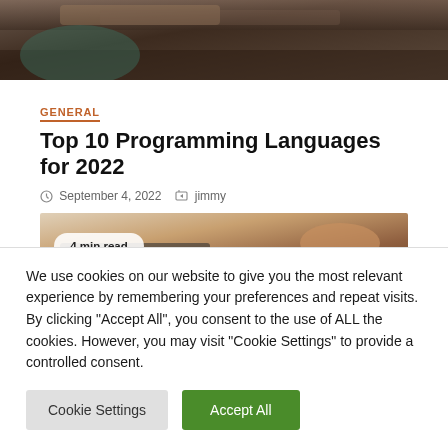[Figure (photo): Partial photo of a person at a desk, dark tones, top portion cropped]
GENERAL
Top 10 Programming Languages for 2022
September 4, 2022   jimmy
[Figure (photo): Photo of hands working at a laptop/keyboard with a badge reading '4 min read']
We use cookies on our website to give you the most relevant experience by remembering your preferences and repeat visits. By clicking "Accept All", you consent to the use of ALL the cookies. However, you may visit "Cookie Settings" to provide a controlled consent.